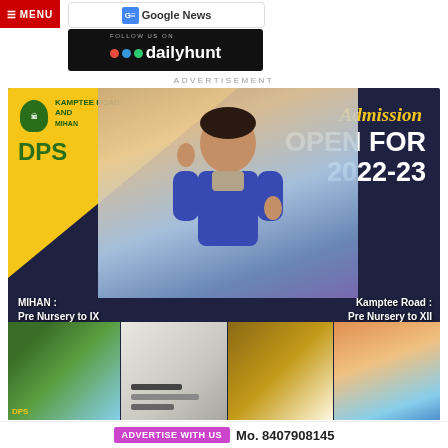MENU
[Figure (logo): Google News button with GE icon and text 'Google News']
[Figure (logo): Dailyhunt logo banner with text 'FOLLOW US ON dailyhunt' on black background with colored dots]
ADVERTISEMENT
[Figure (infographic): DPS school advertisement for Kamptee Road and Mihan campuses. Shows 'Admission OPEN FOR 2022-23'. MIHAN: Pre Nursery to IX. Kamptee Road: Pre Nursery to XII. Features DPS logo, student in school uniform, and campus photos.]
ADVERTISE WITH US  Mo. 8407908145